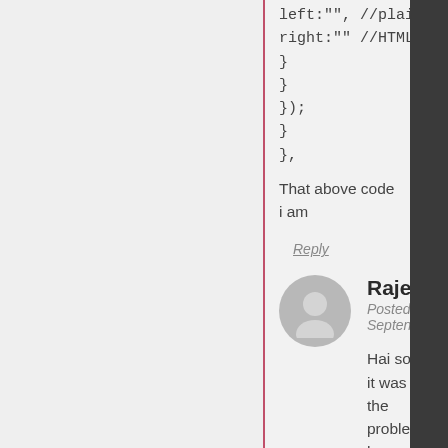left:"", //plain text
right:"" //HTML right-ar
}
}
});
}
},
That above code i am
Reply
Rajesh
Posted on Septen
[Figure (illustration): User avatar: gray circle with white silhouette of a person]
Hai sorry it was the problem ha:
Reply